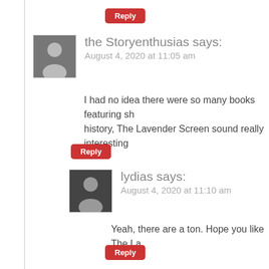Reply
the Storyenthusias says:
August 4, 2020 at 11:05 am
I had no idea there were so many books featuring sh... history, The Lavender Screen sound really interesting...
Reply
lydias says:
August 4, 2020 at 11:10 am
Yeah, there are a ton. Hope you like The La...
Reply
Jess @ Jessticulates says:
August 4, 2020 at 11:12 am
Great list! The Color Purple and Purple Hibiscus are b... Lavender Screen.
Reply